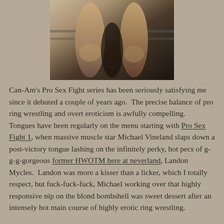[Figure (photo): Partial view of a muscular male figure, cropped from mid-torso to thighs, in a dark wrestling ring setting.]
Can-Am's Pro Sex Fight series has been seriously satisfying me since it debuted a couple of years ago. The precise balance of pro ring wrestling and overt eroticism is awfully compelling. Tongues have been regularly on the menu starting with Pro Sex Fight 1, when massive muscle star Michael Vineland slaps down a post-victory tongue lashing on the infinitely perky, hot pecs of g-g-g-gorgeous former HWOTM here at neverland, Landon Mycles. Landon was more a kisser than a licker, which I totally respect, but fuck-fuck-fuck, Michael working over that highly responsive nip on the blond bombshell was sweet dessert after an intensely hot main course of highly erotic ring wrestling.